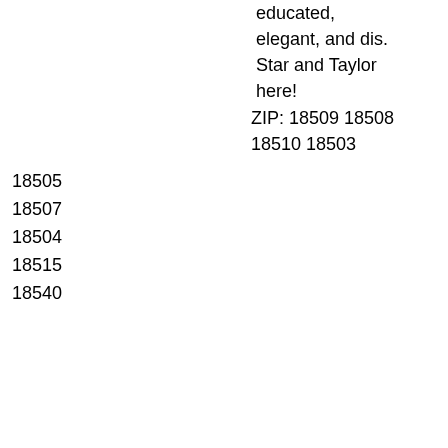educated, elegant, and dis. Star and Taylor here!
ZIP: 18509 18508 18510 18503
18505
18507
18504
18515
18540